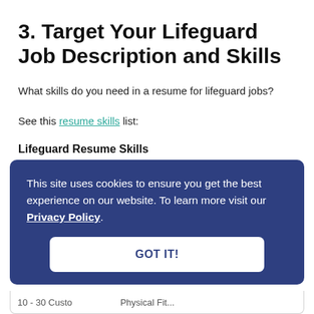3. Target Your Lifeguard Job Description and Skills
What skills do you need in a resume for lifeguard jobs?
See this resume skills list:
Lifeguard Resume Skills
[Figure (screenshot): Cookie consent overlay on a dark blue background reading: 'This site uses cookies to ensure you get the best experience on our website. To learn more visit our Privacy Policy.' with a GOT IT! button below.]
10 - 30 Custo...   Physical Fit...